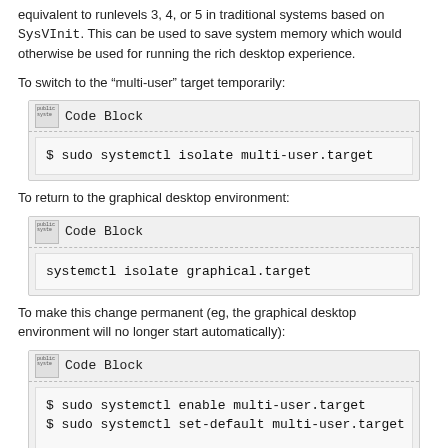equivalent to runlevels 3, 4, or 5 in traditional systems based on SysVInit. This can be used to save system memory which would otherwise be used for running the rich desktop experience.
To switch to the “multi-user” target temporarily:
[Figure (screenshot): Code Block: $ sudo systemctl isolate multi-user.target]
To return to the graphical desktop environment:
[Figure (screenshot): Code Block: systemctl isolate graphical.target]
To make this change permanent (eg, the graphical desktop environment will no longer start automatically):
[Figure (screenshot): Code Block: $ sudo systemctl enable multi-user.target
$ sudo systemctl set-default multi-user.target]